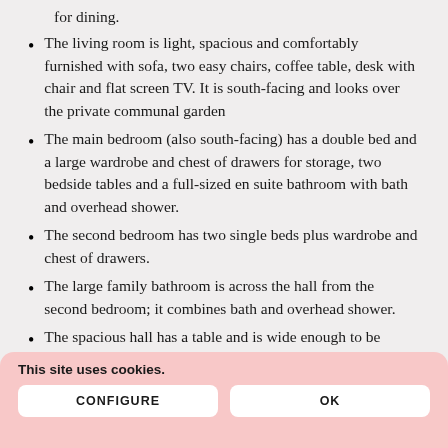for dining.
The living room is light, spacious and comfortably furnished with sofa, two easy chairs, coffee table, desk with chair and flat screen TV. It is south-facing and looks over the private communal garden
The main bedroom (also south-facing) has a double bed and a large wardrobe and chest of drawers for storage, two bedside tables and a full-sized en suite bathroom with bath and overhead shower.
The second bedroom has two single beds plus wardrobe and chest of drawers.
The large family bathroom is across the hall from the second bedroom; it combines bath and overhead shower.
The spacious hall has a table and is wide enough to be
This site uses cookies.
CONFIGURE  OK